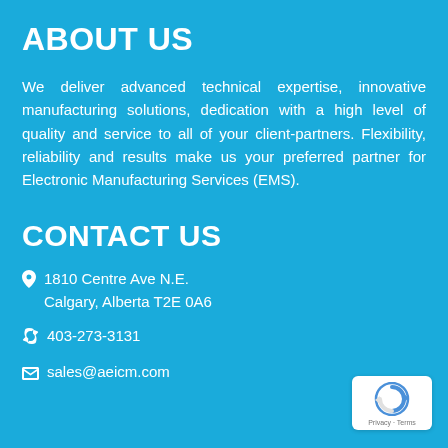ABOUT US
We deliver advanced technical expertise, innovative manufacturing solutions, dedication with a high level of quality and service to all of your client-partners. Flexibility, reliability and results make us your preferred partner for Electronic Manufacturing Services (EMS).
CONTACT US
1810 Centre Ave N.E.
Calgary, Alberta T2E 0A6
403-273-3131
sales@aeicm.com
[Figure (logo): reCAPTCHA badge with Privacy and Terms text]